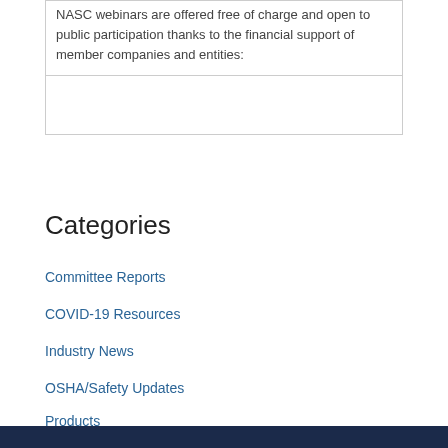NASC webinars are offered free of charge and open to public participation thanks to the financial support of member companies and entities:
Categories
Committee Reports
COVID-19 Resources
Industry News
OSHA/Safety Updates
Products